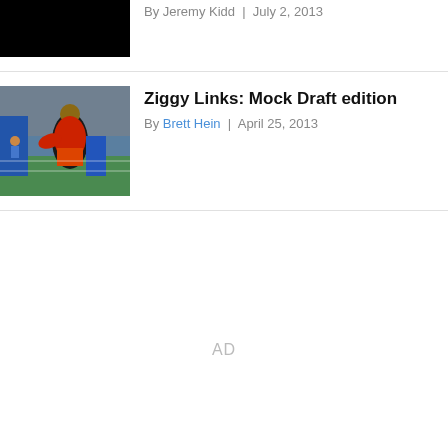[Figure (photo): Black image thumbnail of an article]
By Jeremy Kidd | July 2, 2013
[Figure (photo): Football player at NFL combine doing drills, wearing red and black gear]
Ziggy Links: Mock Draft edition
By Brett Hein | April 25, 2013
AD